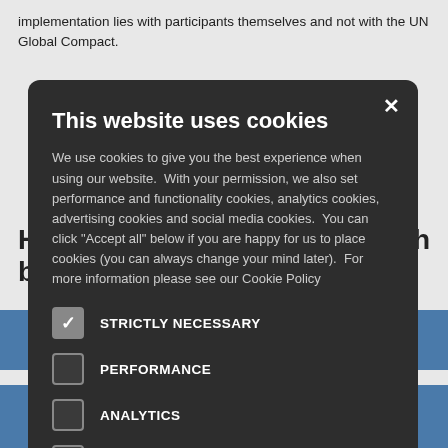implementation lies with participants themselves and not with the UN Global Compact.
H… …ough b…
[Figure (screenshot): Cookie consent modal dialog on a dark background (#2d2d2d) with title 'This website uses cookies', body text about cookie usage, a close X button, and five checkbox rows: STRICTLY NECESSARY (checked), PERFORMANCE (unchecked), ANALYTICS (unchecked), FUNCTIONALITY (unchecked), SOCIAL MEDIA (unchecked).]